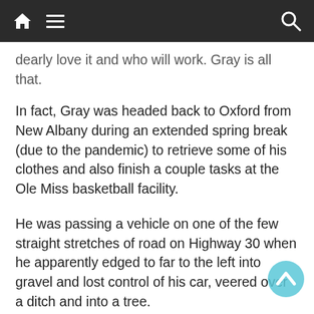Navigation bar with home, menu, and search icons
dearly love it and who will work. Gray is all that.
In fact, Gray was headed back to Oxford from New Albany during an extended spring break (due to the pandemic) to retrieve some of his clothes and also finish a couple tasks at the Ole Miss basketball facility.
He was passing a vehicle on one of the few straight stretches of road on Highway 30 when he apparently edged to far to the left into gravel and lost control of his car, veered over a ditch and into a tree.
“His seat belt and air bags saved his life,” Bob Spencer said. “That’s a call you never want to get, that your son has been air-lifted to the hospital and